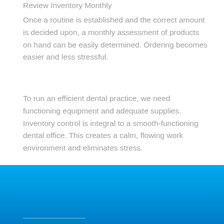Review Inventory Monthly
Once a routine is established and the correct amount is decided upon, a monthly assessment of products on hand can be easily determined. Ordering becomes easier and less stressful.
To run an efficient dental practice, we need functioning equipment and adequate supplies. Inventory control is integral to a smooth-functioning dental office. This creates a calm, flowing work environment and eliminates stress.